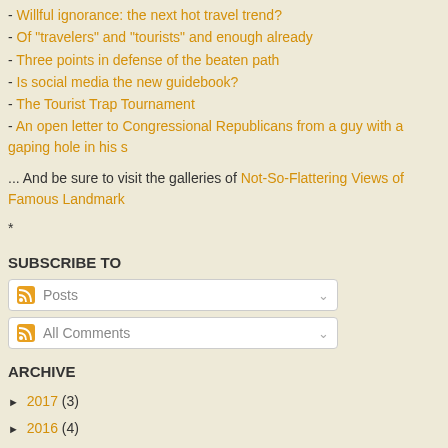- Willful ignorance: the next hot travel trend?
- Of "travelers" and "tourists" and enough already
- Three points in defense of the beaten path
- Is social media the new guidebook?
- The Tourist Trap Tournament
- An open letter to Congressional Republicans from a guy with a gaping hole in his s
... And be sure to visit the galleries of Not-So-Flattering Views of Famous Landmark
*
SUBSCRIBE TO
Posts (dropdown)
All Comments (dropdown)
ARCHIVE
► 2017 (3)
► 2016 (4)
► 2015 (6)
► 2014 (19)
► 2013 (27)
► 2012 (29)